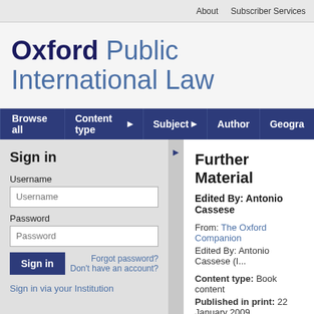About   Subscriber Services
Oxford Public International Law
Browse all   Content type ▸   Subject ▸   Author   Geogra...
Sign in
Username
Password
Sign in   Forgot password?   Don't have an account?
Sign in via your Institution
Further Material
Edited By: Antonio Cassese
From: The Oxford Companion
Edited By: Antonio Cassese (I...
Content type: Book content
Published in print: 22 January 2009